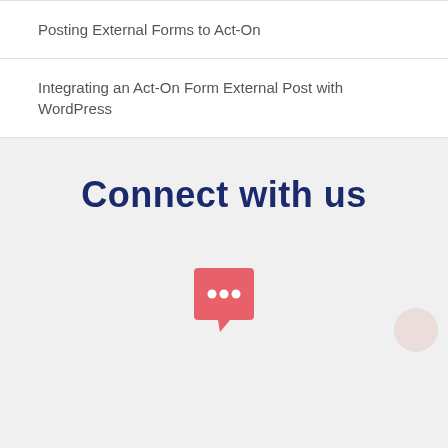Posting External Forms to Act-On
Integrating an Act-On Form External Post with WordPress
Connect with us
[Figure (illustration): Pink/salmon speech bubble with three dots (ellipsis) inside, indicating a chat or messaging icon. A light pink/grey circle partially visible on the bottom right.]